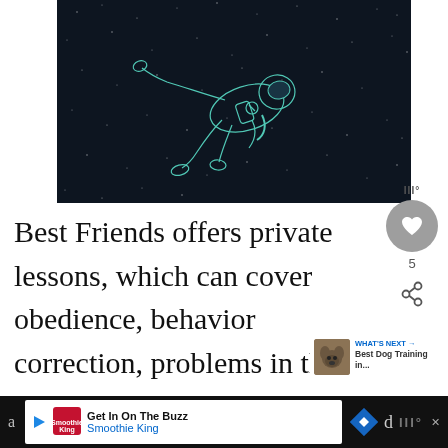[Figure (illustration): Dark space background with stars and a line-art illustration of an astronaut floating in a spacesuit, rendered in light blue/teal outline on dark navy background]
Best Friends offers private lessons, which can cover obedience, behavior correction, problems in the home, and can also act as preparation for canine good citizen Board-and-train services are also available
[Figure (screenshot): UI overlay: thermometer icon, grey circle with heart icon (like button), count of 5, share button with arrows]
[Figure (screenshot): WHAT'S NEXT arrow label with dog thumbnail and text 'Best Dog Training in...']
[Figure (screenshot): Advertisement bar at bottom: Smoothie King ad with 'Get In On The Buzz' text, navigation diamond icon, and menu bars icon]